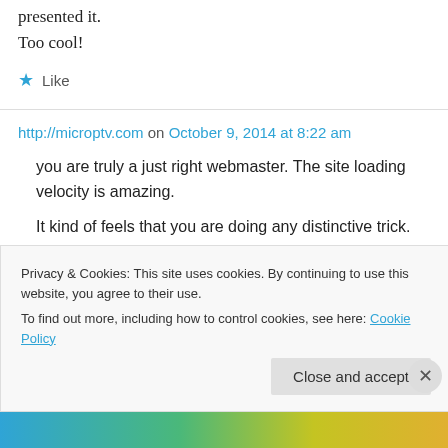presented it.
Too cool!
★ Like
http://microptv.com on October 9, 2014 at 8:22 am
you are truly a just right webmaster. The site loading velocity is amazing.
It kind of feels that you are doing any distinctive trick.
Furthermore. The contents are masterwork. you
Privacy & Cookies: This site uses cookies. By continuing to use this website, you agree to their use.
To find out more, including how to control cookies, see here: Cookie Policy
Close and accept